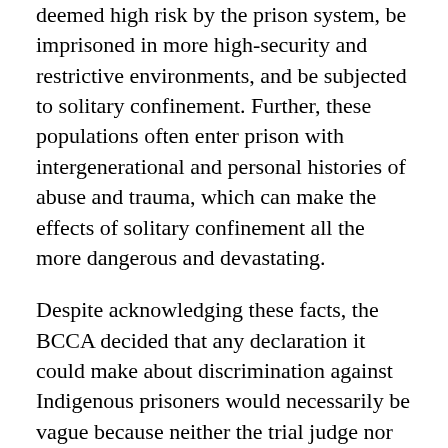deemed high risk by the prison system, be imprisoned in more high-security and restrictive environments, and be subjected to solitary confinement. Further, these populations often enter prison with intergenerational and personal histories of abuse and trauma, which can make the effects of solitary confinement all the more dangerous and devastating.
Despite acknowledging these facts, the BCCA decided that any declaration it could make about discrimination against Indigenous prisoners would necessarily be vague because neither the trial judge nor Canada identified how such discrimination occurred.